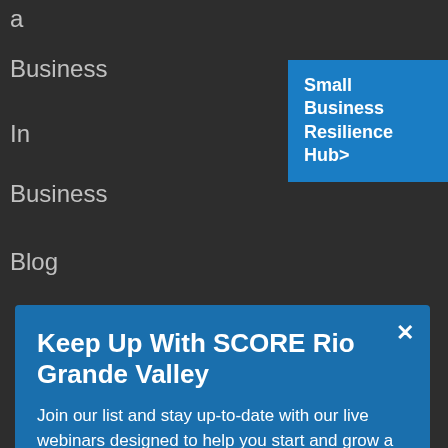a
Business
In
Business
Blog
Small Business Resilience Hub>
Keep Up With SCORE Rio Grande Valley
Join our list and stay up-to-date with our live webinars designed to help you start and grow a successful business.
email address
SUBMIT
Roadmap
Small
Business
Resilience